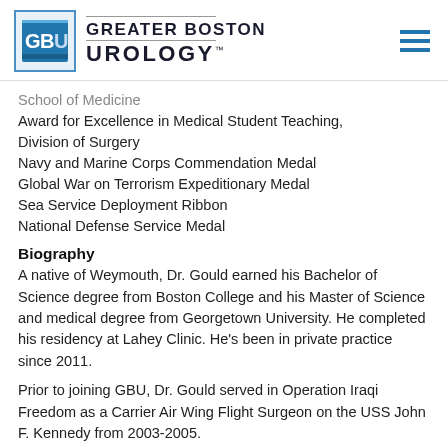Greater Boston Urology
School of Medicine
Award for Excellence in Medical Student Teaching, Division of Surgery
Navy and Marine Corps Commendation Medal
Global War on Terrorism Expeditionary Medal
Sea Service Deployment Ribbon
National Defense Service Medal
Biography
A native of Weymouth, Dr. Gould earned his Bachelor of Science degree from Boston College and his Master of Science and medical degree from Georgetown University. He completed his residency at Lahey Clinic. He’s been in private practice since 2011.
Prior to joining GBU, Dr. Gould served in Operation Iraqi Freedom as a Carrier Air Wing Flight Surgeon on the USS John F. Kennedy from 2003-2005.